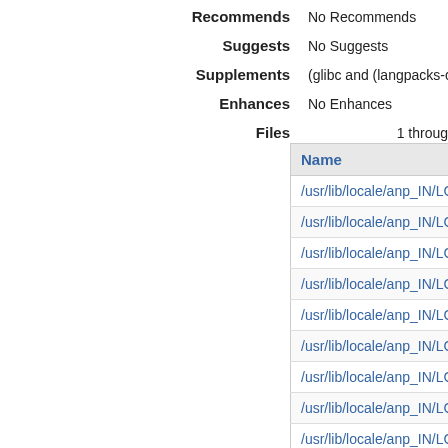(partial top text, cut off at top)
Recommends: No Recommends
Suggests: No Suggests
Supplements: (glibc and (langpacks-core-anp or langpacks-core-an...
Enhances: No Enhances
Files: 1 through...
| Name |
| --- |
| /usr/lib/locale/anp_IN/LC_COLLATE |
| /usr/lib/locale/anp_IN/LC_CTYPE |
| /usr/lib/locale/anp_IN/LC_TIME |
| /usr/lib/locale/anp_IN/LC_IDENTIFICATION |
| /usr/lib/locale/anp_IN/LC_MONETARY |
| /usr/lib/locale/anp_IN/LC_ADDRESS |
| /usr/lib/locale/anp_IN/LC_NAME |
| /usr/lib/locale/anp_IN/LC_MESSAGES/SYS_LC_MES... |
| /usr/lib/locale/anp_IN/LC_NUMERIC |
| /usr/lib/locale/anp_IN/LC_TELEPHONE |